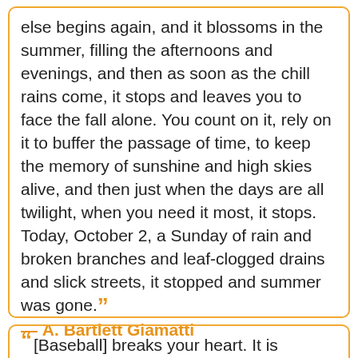else begins again, and it blossoms in the summer, filling the afternoons and evenings, and then as soon as the chill rains come, it stops and leaves you to face the fall alone. You count on it, rely on it to buffer the passage of time, to keep the memory of sunshine and high skies alive, and then just when the days are all twilight, when you need it most, it stops. Today, October 2, a Sunday of rain and broken branches and leaf-clogged drains and slick streets, it stopped and summer was gone.”
— A. Bartlett Giamatti
“[Baseball] breaks your heart. It is designed to break your heart. The game begins in the spring, when everything else begins again, and it blossoms in the summer, filling the afternoons and evenings, and then